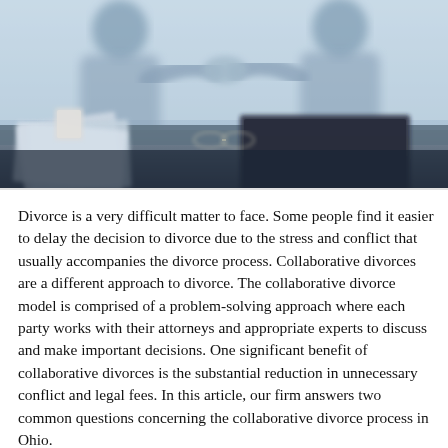[Figure (photo): Blurred photo of two people shaking hands across a desk with papers and a laptop, soft blue-grey tones, viewed from a low angle]
Divorce is a very difficult matter to face. Some people find it easier to delay the decision to divorce due to the stress and conflict that usually accompanies the divorce process. Collaborative divorces are a different approach to divorce. The collaborative divorce model is comprised of a problem-solving approach where each party works with their attorneys and appropriate experts to discuss and make important decisions. One significant benefit of collaborative divorces is the substantial reduction in unnecessary conflict and legal fees. In this article, our firm answers two common questions concerning the collaborative divorce process in Ohio.